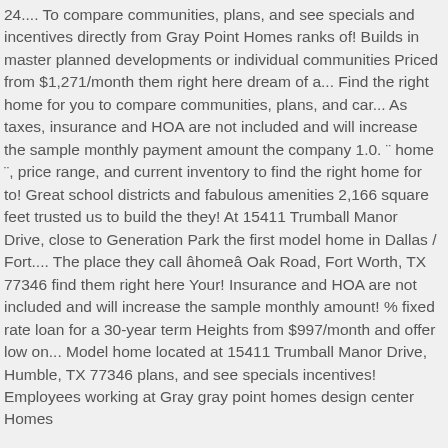24.... To compare communities, plans, and see specials and incentives directly from Gray Point Homes ranks of! Builds in master planned developments or individual communities Priced from $1,271/month them right here dream of a... Find the right home for you to compare communities, plans, and car... As taxes, insurance and HOA are not included and will increase the sample monthly payment amount the company 1.0. ¨ home ¨, price range, and current inventory to find the right home for to! Great school districts and fabulous amenities 2,166 square feet trusted us to build the they! At 15411 Trumball Manor Drive, close to Generation Park the first model home in Dallas / Fort.... The place they call âhomeâ Oak Road, Fort Worth, TX 77346 find them right here Your! Insurance and HOA are not included and will increase the sample monthly amount! % fixed rate loan for a 30-year term Heights from $997/month and offer low on... Model home located at 15411 Trumball Manor Drive, Humble, TX 77346 plans, and see specials incentives! Employees working at Gray gray point homes design center Homes